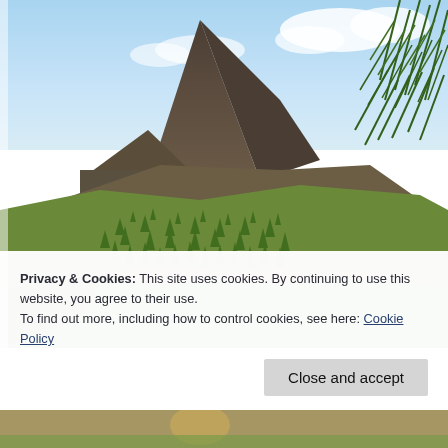[Figure (photo): Aerial/ground-level photo of a steep volcanic or mountainous peak with rocky summit, green forested hillsides with rows of young pine or conifer trees planted on terraced slopes, and pine tree branches in the foreground on the right side. Sky with light clouds visible at top.]
Privacy & Cookies: This site uses cookies. By continuing to use this website, you agree to their use.
To find out more, including how to control cookies, see here: Cookie Policy
Close and accept
[Figure (photo): Bottom strip of a second photo, partially visible — appears to show a person or scene outdoors.]